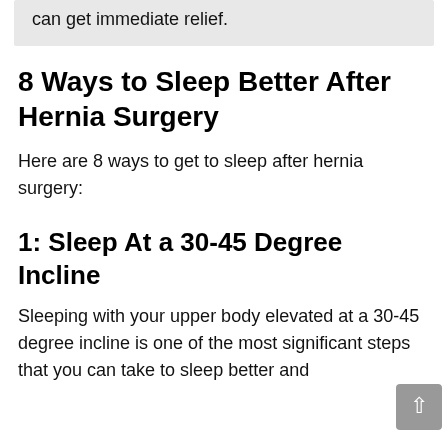can get immediate relief.
8 Ways to Sleep Better After Hernia Surgery
Here are 8 ways to get to sleep after hernia surgery:
1: Sleep At a 30-45 Degree Incline
Sleeping with your upper body elevated at a 30-45 degree incline is one of the most significant steps that you can take to sleep better and